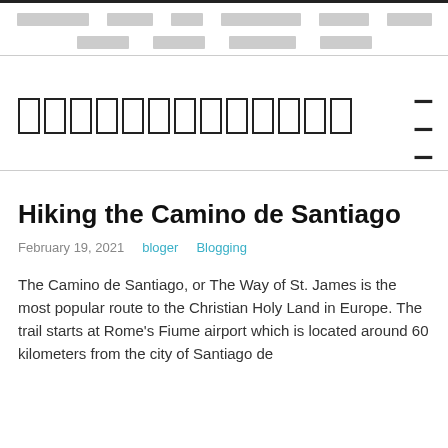[nav links row 1] [nav links row 2]
[site logo/title]
Hiking the Camino de Santiago
February 19, 2021   bloger   Blogging
The Camino de Santiago, or The Way of St. James is the most popular route to the Christian Holy Land in Europe. The trail starts at Rome's Fiume airport which is located around 60 kilometers from the city of Santiago de